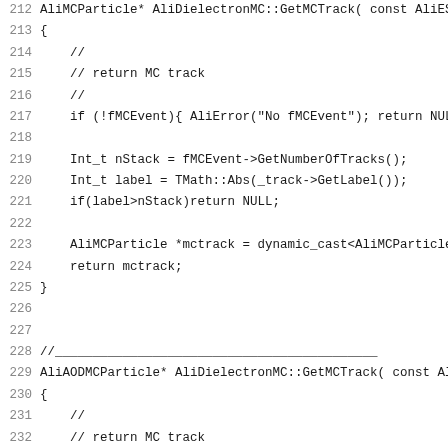[Figure (screenshot): Source code listing in C++ (monospace font) showing lines 212-244 of AliDielectronMC class implementation, with line numbers on the left and code on the right. Two functions GetMCTrack (for AliMCEvent and AliAODMCParticle versions) and beginning of GetMCTrackFromStack are shown.]